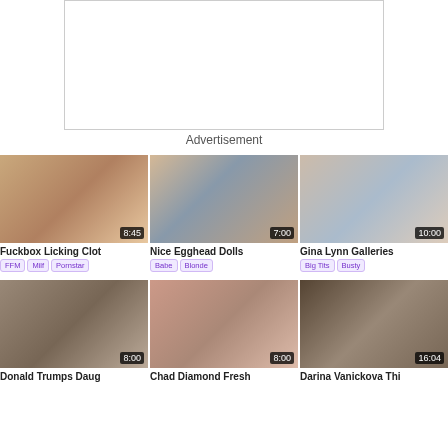[Figure (other): Advertisement placeholder box]
Advertisement
[Figure (photo): Fuckbox Licking Clot thumbnail, duration 8:45]
Fuckbox Licking Clot
FFM  Milf  Pornstar
[Figure (photo): Nice Egghead Dolls thumbnail, duration 7:00]
Nice Egghead Dolls
Babe  Blonde
[Figure (photo): Gina Lynn Galleries thumbnail, duration 10:00]
Gina Lynn Galleries
Big Tits  Busty
[Figure (photo): Donald Trumps Daug thumbnail, duration 8:00]
Donald Trumps Daug
[Figure (photo): Chad Diamond Fresh thumbnail, duration 8:00]
Chad Diamond Fresh
[Figure (photo): Darina Vanickova Thi thumbnail, duration 16:04]
Darina Vanickova Thi